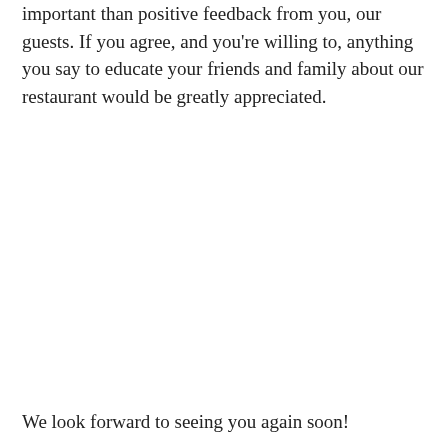important than positive feedback from you, our guests. If you agree, and you're willing to, anything you say to educate your friends and family about our restaurant would be greatly appreciated.
We look forward to seeing you again soon!